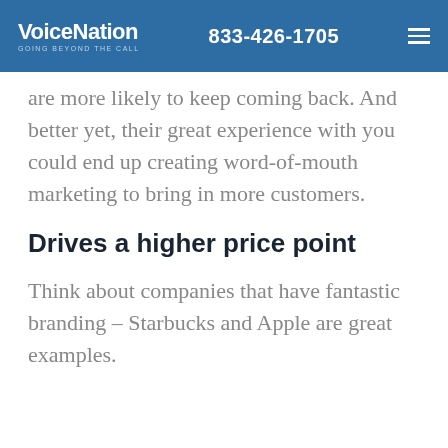VoiceNation GOING BEYOND THE CALL | 833-426-1705
are more likely to keep coming back. And better yet, their great experience with you could end up creating word-of-mouth marketing to bring in more customers.
Drives a higher price point
Think about companies that have fantastic branding – Starbucks and Apple are great examples.